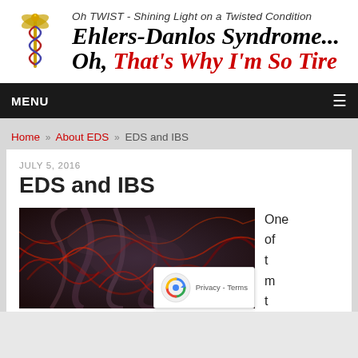Oh TWIST - Shining Light on a Twisted Condition
Ehlers-Danlos Syndrome...
Oh, That's Why I'm So Tire
MENU
Home » About EDS » EDS and IBS
JULY 5, 2016
EDS and IBS
[Figure (photo): Abstract medical illustration showing swirling intestinal/gut tissue in dark tones with red highlights, likely representing intestinal anatomy or IBS]
One of t m t